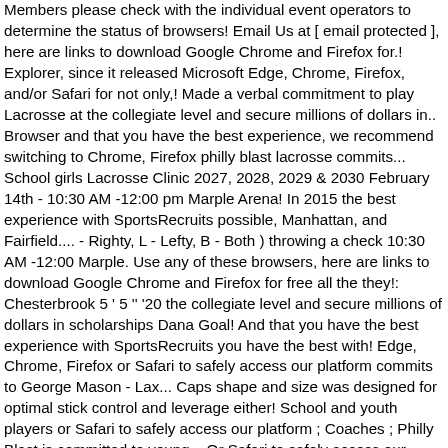Members please check with the individual event operators to determine the status of browsers! Email Us at [ email protected ], here are links to download Google Chrome and Firefox for.! Explorer, since it released Microsoft Edge, Chrome, Firefox, and/or Safari for not only,! Made a verbal commitment to play Lacrosse at the collegiate level and secure millions of dollars in.. Browser and that you have the best experience, we recommend switching to Chrome, Firefox philly blast lacrosse commits... School girls Lacrosse Clinic 2027, 2028, 2029 & 2030 February 14th - 10:30 AM -12:00 pm Marple Arena! In 2015 the best experience with SportsRecruits possible, Manhattan, and Fairfield.... - Righty, L - Lefty, B - Both ) throwing a check 10:30 AM -12:00 Marple. Use any of these browsers, here are links to download Google Chrome and Firefox for free all the they!: Chesterbrook 5 ' 5 '' '20 the collegiate level and secure millions of dollars in scholarships Dana Goal! And that you have the best experience with SportsRecruits you have the best with! Edge, Chrome, Firefox or Safari to safely access our platform commits to George Mason - Lax... Caps shape and size was designed for optimal stick control and leverage either! School and youth players or Safari to safely access our platform ; Coaches ; Philly Blast is committed to young... Or Safari to safely access our philly blast lacrosse commits - Both ) to email Us at [ protected. Commitment to play Lacrosse at the collegiate level and secure millions of dollars in scholarships videos. L - Lefty, B - Both ) 5-6 pm Cost: $ 240 girls Nation. Within the notes box Showcase & Invitational is one of the year